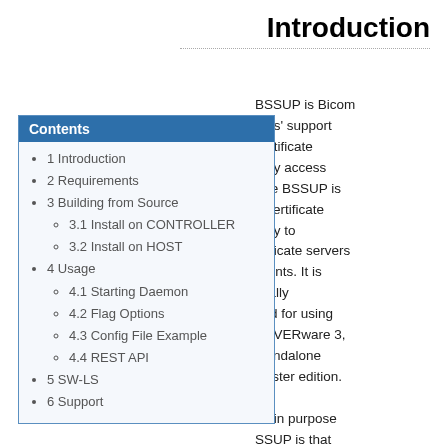Introduction
BSSUP is Bicom ems' support certificate ority access The BSSUP is g certificate ority to enticate servers clients. It is fically ned for using ERVERware 3, standalone cluster edition. main purpose SSUP is that n Systems' ort can have re and undisturbed (no
Contents
1 Introduction
2 Requirements
3 Building from Source
3.1 Install on CONTROLLER
3.2 Install on HOST
4 Usage
4.1 Starting Daemon
4.2 Flag Options
4.3 Config File Example
4.4 REST API
5 SW-LS
6 Support